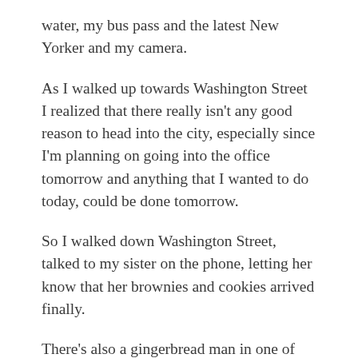water, my bus pass and the latest New Yorker and my camera.
As I walked up towards Washington Street I realized that there really isn't any good reason to head into the city, especially since I'm planning on going into the office tomorrow and anything that I wanted to do today, could be done tomorrow.
So I walked down Washington Street, talked to my sister on the phone, letting her know that her brownies and cookies arrived finally.
There's also a gingerbread man in one of the containers. The gingerbread man looks horrified, as if he knows how it will end for him. As soon as you open the container, there he is under the wax paper with a look of anguish.
I walked over to Barnes and Nobel and farted around in